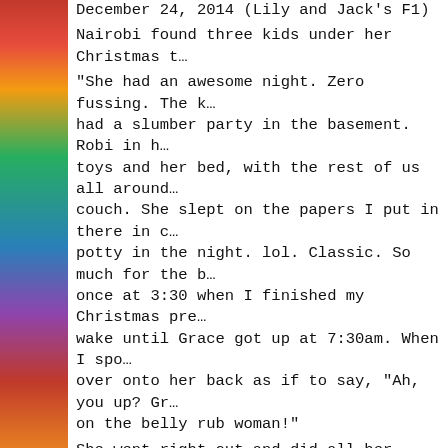[Figure (photo): Colorful blurred photo strip on the left side of the page showing bright reds, yellows, greens, blues, and purples]
December 24, 2014 (Lily and Jack's F1)
Nairobi found three kids under her Christmas t…
"She had an awesome night. Zero fussing. The k… had a slumber party in the basement. Robi in h… toys and her bed, with the rest of us all around… couch. She slept on the papers I put in there in c… potty in the night. lol. Classic. So much for the b… once at 3:30 when I finished my Christmas pre… wake until Grace got up at 7:30am. When I spo… over onto her back as if to say, "Ah, you up? Gr… on the belly rub woman!"
She went right out and did all her business, ba… playtime, a little sit practice, breakfast and now… watching Christmas movies. I can't imagine a b… I can't thank you all enough. She is obviously a… She is so trusting and gentle with the kids. We… Have a wonderful Christmas! We will definitely…